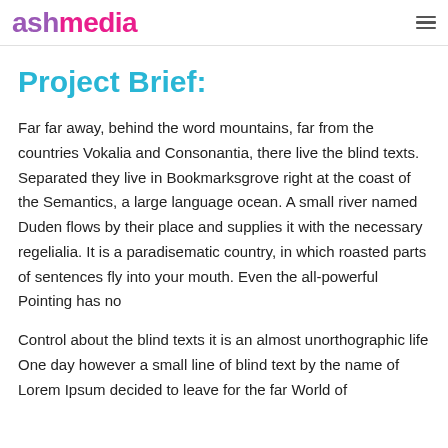ashmedia
Project Brief:
Far far away, behind the word mountains, far from the countries Vokalia and Consonantia, there live the blind texts. Separated they live in Bookmarksgrove right at the coast of the Semantics, a large language ocean. A small river named Duden flows by their place and supplies it with the necessary regelialia. It is a paradisematic country, in which roasted parts of sentences fly into your mouth. Even the all-powerful Pointing has no
Control about the blind texts it is an almost unorthographic life One day however a small line of blind text by the name of Lorem Ipsum decided to leave for the far World of